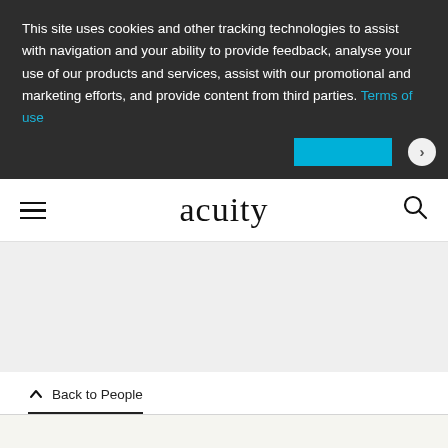This site uses cookies and other tracking technologies to assist with navigation and your ability to provide feedback, analyse your use of our products and services, assist with our promotional and marketing efforts, and provide content from third parties. Terms of use
[Figure (screenshot): Navigation bar with hamburger menu, acuity logo (serif), and search icon]
[Figure (photo): Grey hero image placeholder area]
Back to People